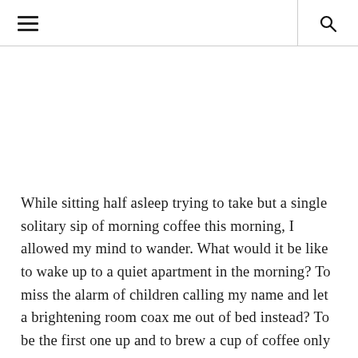[hamburger menu icon] [search icon]
While sitting half asleep trying to take but a single solitary sip of morning coffee this morning, I allowed my mind to wander. What would it be like to wake up to a quiet apartment in the morning? To miss the alarm of children calling my name and let a brightening room coax me out of bed instead? To be the first one up and to brew a cup of coffee only to slip back into bed with nary a small person